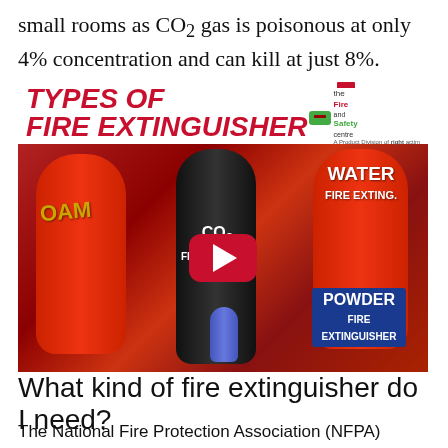small rooms as CO2 gas is poisonous at only 4% concentration and can kill at just 8%.
[Figure (photo): YouTube video thumbnail showing Types of Fire Extinguisher — image of foam, CO2, water, and powder fire extinguishers lined up, with a red play button overlay. Logo of The Fire and Safety Centre in top right.]
What kind of fire extinguisher do I need?
The National Fire Protection Association (NFPA) provides minimum recommendations for the home: Primary Fire Extinguishers –